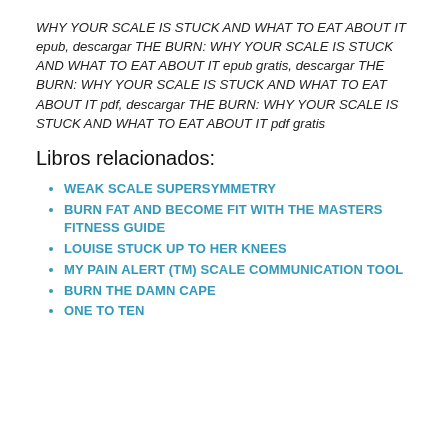WHY YOUR SCALE IS STUCK AND WHAT TO EAT ABOUT IT epub, descargar THE BURN: WHY YOUR SCALE IS STUCK AND WHAT TO EAT ABOUT IT epub gratis, descargar THE BURN: WHY YOUR SCALE IS STUCK AND WHAT TO EAT ABOUT IT pdf, descargar THE BURN: WHY YOUR SCALE IS STUCK AND WHAT TO EAT ABOUT IT pdf gratis
Libros relacionados:
WEAK SCALE SUPERSYMMETRY
BURN FAT AND BECOME FIT WITH THE MASTERS FITNESS GUIDE
LOUISE STUCK UP TO HER KNEES
MY PAIN ALERT (TM) SCALE COMMUNICATION TOOL
BURN THE DAMN CAPE
ONE TO TEN